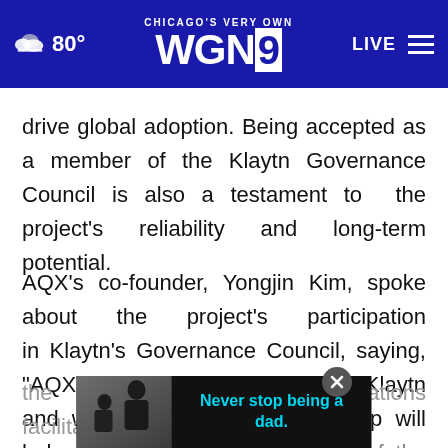Chicago's Very Own WGN9 — 80° LIVE
drive global adoption. Being accepted as a member of the Klaytn Governance Council is also a testament to the project's reliability and long-term potential.
AQX's co-founder, Yongjin Kim, spoke about the project's participation in Klaytn's Governance Council, saying, “AQX shares a mutual vision with Klaytn and we hope that this partnership will help foster a sustainable growth of the blockchain ecosystem. We also hope that the cross-industry collaborations facilitated by
[Figure (photo): Advertisement banner overlay: black background with photo of adult and child (silhouette), text reads 'Never stop being a dad.' in cyan/teal, with a close (X) button]